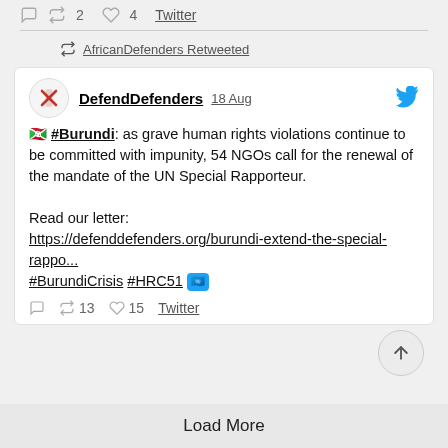2  4  Twitter
AfricanDefenders Retweeted
DefendDefenders  18 Aug
🇧🇮 #Burundi: as grave human rights violations continue to be committed with impunity, 54 NGOs call for the renewal of the mandate of the UN Special Rapporteur.

Read our letter:
https://defenddefenders.org/burundi-extend-the-special-rappo...
#BurundiCrisis #HRC51 🇺🇳
13  15  Twitter
Load More